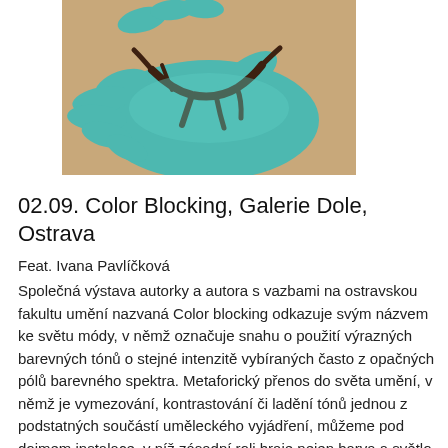[Figure (photo): Close-up painting or artwork showing teal/turquoise hands holding or interacting with dark brown branch-like or root-like forms, on a warm beige/orange background.]
02.09. Color Blocking, Galerie Dole, Ostrava
Feat. Ivana Pavlíčková
Společná výstava autorky a autora s vazbami na ostravskou fakultu umění nazvaná Color blocking odkazuje svým názvem ke světu módy, v němž označuje snahu o použití výrazných barevných tónů o stejné intenzitě vybíraných často z opačných pólů barevného spektra. Metaforický přenos do světa umění, v němž je vymezování, kontrastování či ladění tónů jednou z podstatných součástí uměleckého vyjádření, můžeme pod dojmem instalace, v níž zásadní roli hraje nejen barva a světlo, ale i samotné prostorové podmínky galerie, vnímat i jako snahu o komplementární vymezení/propojení dvou